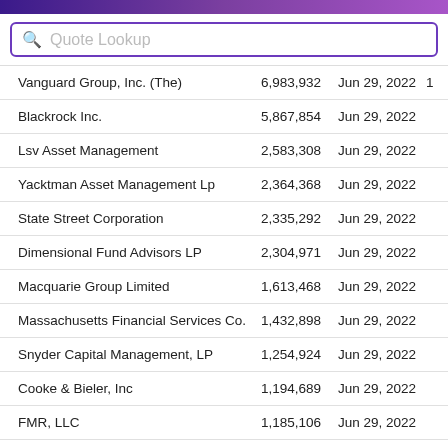[Figure (other): Purple gradient header bar at top of page]
Quote Lookup (search box placeholder)
| Holder | Shares | Date |  |
| --- | --- | --- | --- |
| Vanguard Group, Inc. (The) | 6,983,932 | Jun 29, 2022 | 1 |
| Blackrock Inc. | 5,867,854 | Jun 29, 2022 |  |
| Lsv Asset Management | 2,583,308 | Jun 29, 2022 |  |
| Yacktman Asset Management Lp | 2,364,368 | Jun 29, 2022 |  |
| State Street Corporation | 2,335,292 | Jun 29, 2022 |  |
| Dimensional Fund Advisors LP | 2,304,971 | Jun 29, 2022 |  |
| Macquarie Group Limited | 1,613,468 | Jun 29, 2022 |  |
| Massachusetts Financial Services Co. | 1,432,898 | Jun 29, 2022 |  |
| Snyder Capital Management, LP | 1,254,924 | Jun 29, 2022 |  |
| Cooke & Bieler, Inc | 1,194,689 | Jun 29, 2022 |  |
| FMR, LLC | 1,185,106 | Jun 29, 2022 |  |